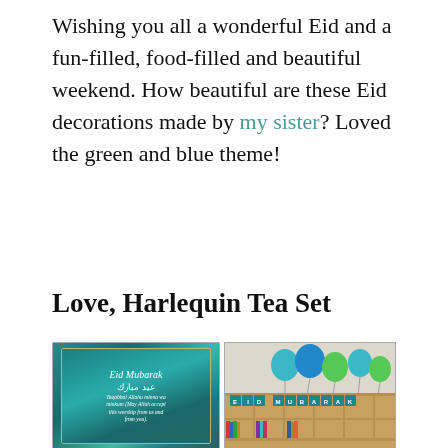Wishing you all a wonderful Eid and a fun-filled, food-filled and beautiful weekend. How beautiful are these Eid decorations made by my sister? Loved the green and blue theme!
Love, Harlequin Tea Set
[Figure (photo): Two side-by-side photos: left shows a framed Eid Mubarak card with teal/green Islamic geometric design and Arabic text; right shows a wooden shelf/bookcase with blue and green balloons and an 'EID MUBARAK' letter banner.]